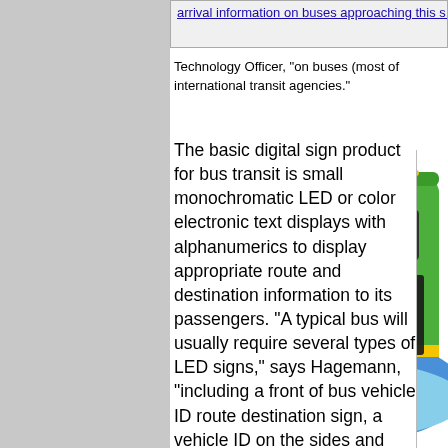arrival information on buses approaching this s...
Technology Officer, "on buses (most of... international transit agencies."
The basic digital sign product for bus transit is small monochromatic LED or color electronic text displays with alphanumerics to display appropriate route and destination information to its passengers. "A typical bus will usually require several types of LED signs," says Hagemann, "including a front of bus vehicle ID route destination sign, a vehicle ID on the sides and back of the bus, and inside, a route stop alert sign. When the opportunity presents
[Figure (photo): A green and blue transit bus photographed at an angle showing the front and side, with yellow stripe detail.]